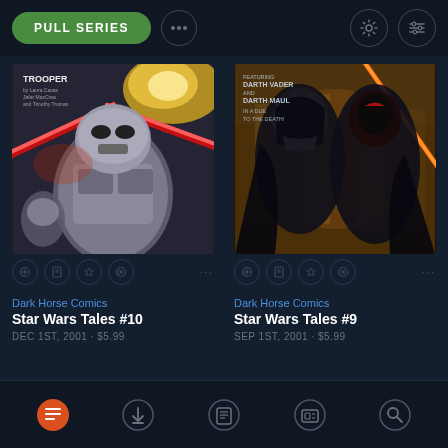[Figure (screenshot): App top bar with PULL SERIES green button, ellipsis icon, settings gear icon, and filter/sliders icon]
[Figure (illustration): Comic book cover for Star Wars Tales #10 showing a clone trooper stormtrooper with red lightsabers, published by Dark Horse Comics]
[Figure (illustration): Comic book cover for Star Wars Tales #9 showing Darth Vader and Darth Maul with crossed orange/red lightsabers on golden/dark background, published by Dark Horse Comics]
Dark Horse Comics
Star Wars Tales #10
DEC 1ST, 2001 · $5.99
Dark Horse Comics
Star Wars Tales #9
SEP 1ST, 2001 · $5.99